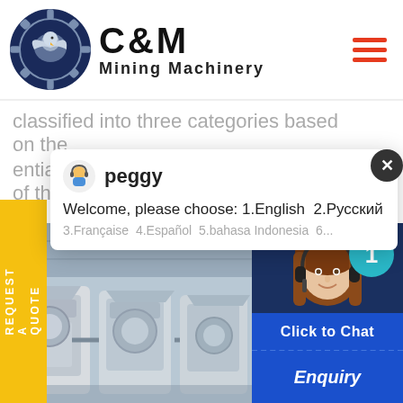[Figure (logo): C&M Mining Machinery logo with eagle/gear icon in navy blue circle]
classified into three categories based on the ential environmental impact, and two of the
[Figure (screenshot): Chat popup with agent 'peggy' avatar, message: Welcome, please choose: 1.English 2.Русский 3.Française 4.Español 5.bahasa Indonesia 6...]
[Figure (photo): Industrial mining/crushing machinery in a warehouse setting]
[Figure (photo): Female customer support agent wearing headset, smiling, with teal notification badge showing '1', Click to Chat and Enquiry buttons]
REQUEST A QUOTE